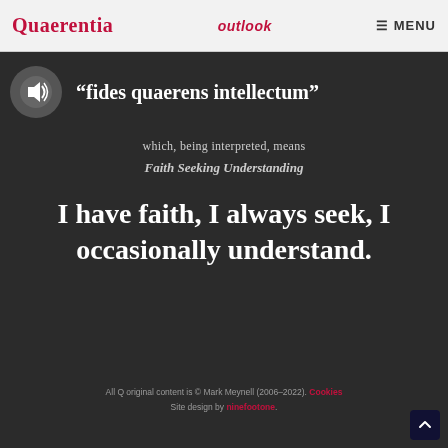Quaerentia | outlook | MENU
“fides quaerens intellectum”
which, being interpreted, means
Faith Seeking Understanding
I have faith, I always seek, I occasionally understand.
All Q original content is © Mark Meynell (2006–2022). Cookies | Site design by ninefootone.